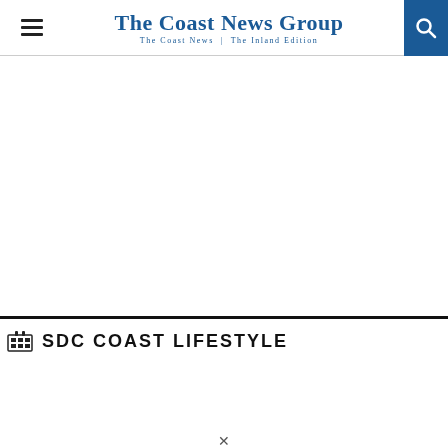The Coast News Group — The Coast News | The Inland Edition
SDC COAST LIFESTYLE